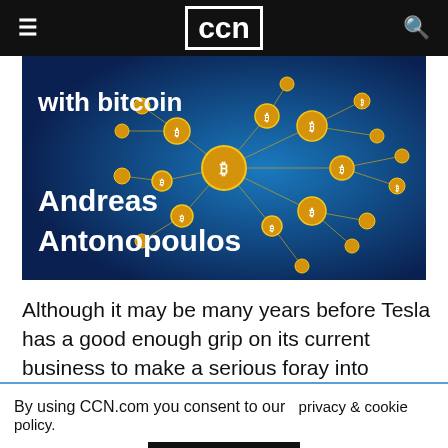CCN
[Figure (illustration): Dark blue background with a network of golden Bitcoin coin nodes connected by lines, forming a globe-like shape. Text overlay in white bold: 'with bitcoin' and 'Andreas Antonopoulos']
Although it may be many years before Tesla has a good enough grip on its current business to make a serious foray into cryptocurrency, it seems likely
By using CCN.com you consent to our  privacy & cookie policy.
Continue